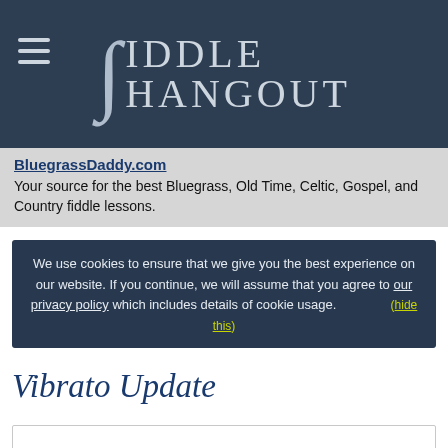FIDDLE HANGOUT
BluegrassDaddy.com
Your source for the best Bluegrass, Old Time, Celtic, Gospel, and Country fiddle lessons.
We use cookies to ensure that we give you the best experience on our website. If you continue, we will assume that you agree to our privacy policy which includes details of cookie usage. (hide this)
Vibrato Update